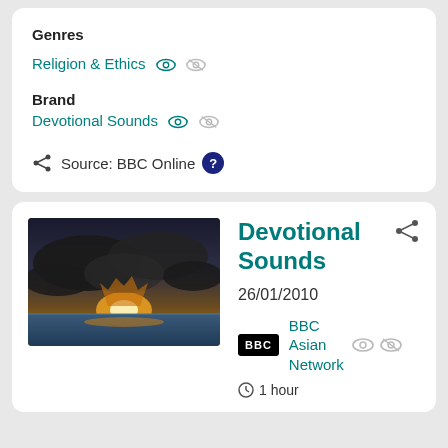Genres
Religion & Ethics
Brand
Devotional Sounds
Source: BBC Online
Devotional Sounds
26/01/2010
BBC Asian Network
1 hour
[Figure (photo): Sunset over ocean with dramatic clouds, silhouette of clouds against orange/golden sky with water in foreground]